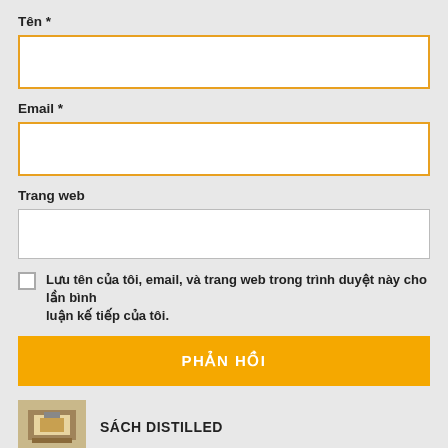Tên *
[Figure (other): Empty text input box with orange border for 'Tên' field]
Email *
[Figure (other): Empty text input box with orange border for 'Email' field]
Trang web
[Figure (other): Empty text input box with grey border for 'Trang web' field]
Lưu tên của tôi, email, và trang web trong trình duyệt này cho lần bình luận kế tiếp của tôi.
PHẢN HỒI
SÁCH DISTILLED